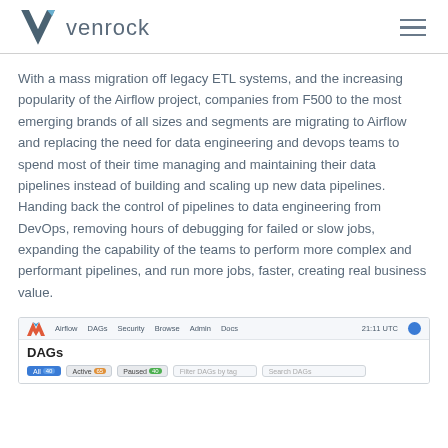venrock
With a mass migration off legacy ETL systems, and the increasing popularity of the Airflow project, companies from F500 to the most emerging brands of all sizes and segments are migrating to Airflow and replacing the need for data engineering and devops teams to spend most of their time managing and maintaining their data pipelines instead of building and scaling up new data pipelines. Handing back the control of pipelines to data engineering from DevOps, removing hours of debugging for failed or slow jobs, expanding the capability of the teams to perform more complex and performant pipelines, and run more jobs, faster, creating real business value.
[Figure (screenshot): Apache Airflow DAGs dashboard screenshot showing navigation bar with links to DAGs, Security, Browse, Admin, Docs, time display 21:11 UTC, and the DAGs page with filter buttons for All, Active, Paused and search boxes.]